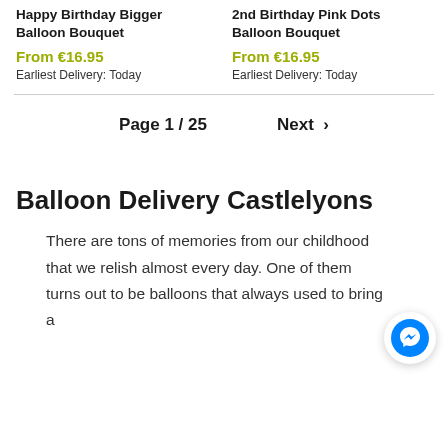Happy Birthday Bigger Balloon Bouquet
From €16.95
Earliest Delivery: Today
2nd Birthday Pink Dots Balloon Bouquet
From €16.95
Earliest Delivery: Today
Page 1 / 25
Next ›
Balloon Delivery Castlelyons
There are tons of memories from our childhood that we relish almost every day. One of them turns out to be balloons that always used to bring a